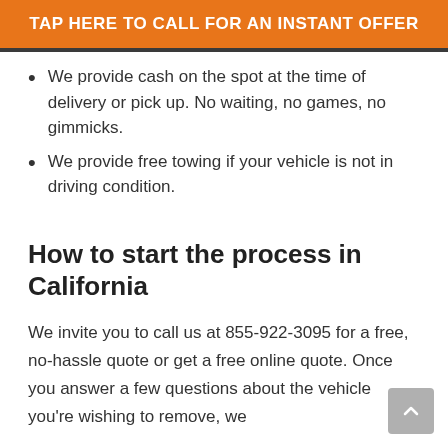TAP HERE TO CALL FOR AN INSTANT OFFER
We provide cash on the spot at the time of delivery or pick up. No waiting, no games, no gimmicks.
We provide free towing if your vehicle is not in driving condition.
How to start the process in California
We invite you to call us at 855-922-3095 for a free, no-hassle quote or get a free online quote. Once you answer a few questions about the vehicle you're wishing to remove, we